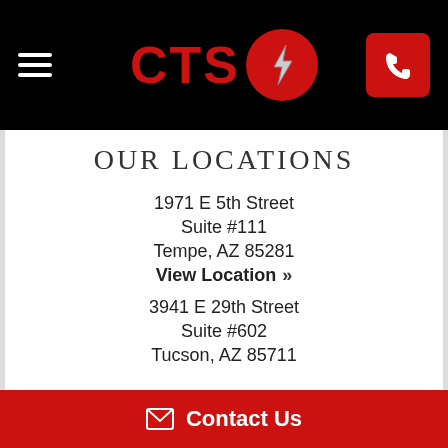CTS [logo] [hamburger menu] [phone button]
OUR LOCATIONS
1971 E 5th Street
Suite #111
Tempe, AZ 85281
View Location »
3941 E 29th Street
Suite #602
Tucson, AZ 85711
Contact Us